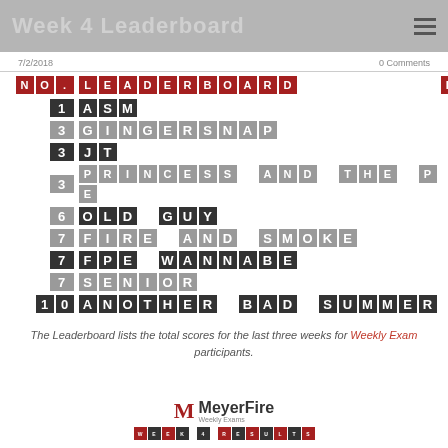Week 4 Leaderboard
7/2/2018   0 Comments
| NO. | LEADERBOARD | PTS |
| --- | --- | --- |
| 1 | ASM | 22 |
| 3 | GINGERSNAP | 20 |
| 3 | JT | 20 |
| 3 | PRINCESS AND THE PE | 20 |
| 6 | OLD GUY | 19 |
| 7 | FIRE AND SMOKE | 18 |
| 7 | FPE WANNABE | 18 |
| 7 | SENIOR | 18 |
| 10 | ANOTHER BAD SUMMER | 17 |
The Leaderboard lists the total scores for the last three weeks for Weekly Exam participants.
[Figure (logo): MeyerFire Weekly Exams logo with M icon and WEEK 4 RESULTS bar]